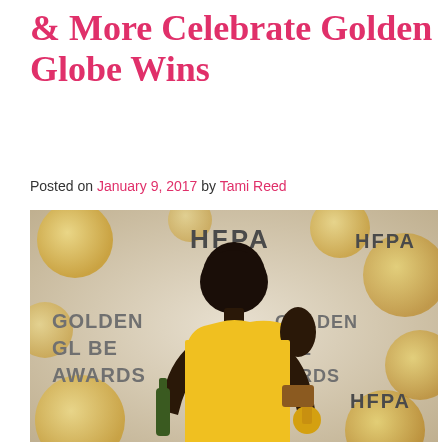& More Celebrate Golden Globe Wins
Posted on January 9, 2017 by Tami Reed
[Figure (photo): Woman in yellow one-shoulder dress holding a Golden Globe award and a bottle of champagne, standing in front of a Golden Globe Awards / HFPA backdrop with gold circle decorations]